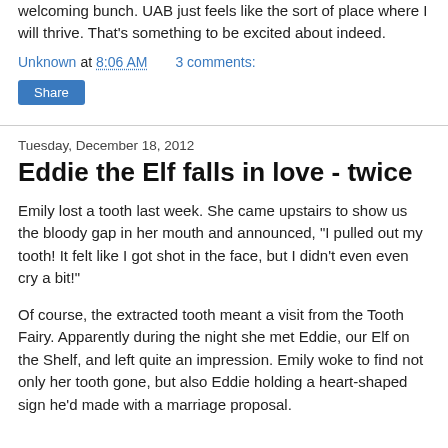welcoming bunch. UAB just feels like the sort of place where I will thrive. That's something to be excited about indeed.
Unknown at 8:06 AM    3 comments:
Share
Tuesday, December 18, 2012
Eddie the Elf falls in love - twice
Emily lost a tooth last week. She came upstairs to show us the bloody gap in her mouth and announced, "I pulled out my tooth! It felt like I got shot in the face, but I didn't even even cry a bit!"
Of course, the extracted tooth meant a visit from the Tooth Fairy. Apparently during the night she met Eddie, our Elf on the Shelf, and left quite an impression. Emily woke to find not only her tooth gone, but also Eddie holding a heart-shaped sign he'd made with a marriage proposal.